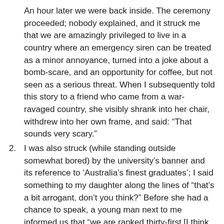An hour later we were back inside. The ceremony proceeded; nobody explained, and it struck me that we are amazingly privileged to live in a country where an emergency siren can be treated as a minor annoyance, turned into a joke about a bomb-scare, and an opportunity for coffee, but not seen as a serious threat. When I subsequently told this story to a friend who came from a war-ravaged country, she visibly shrank into her chair, withdrew into her own frame, and said: “That sounds very scary.”
I was also struck (while standing outside somewhat bored) by the university’s banner and its reference to ‘Australia’s finest graduates’; I said something to my daughter along the lines of “that’s a bit arrogant, don’t you think?” Before she had a chance to speak, a young man next to me informed us that “we are ranked thirty-first [I think he said] in the world, you know.” Amazingly privileged – again.